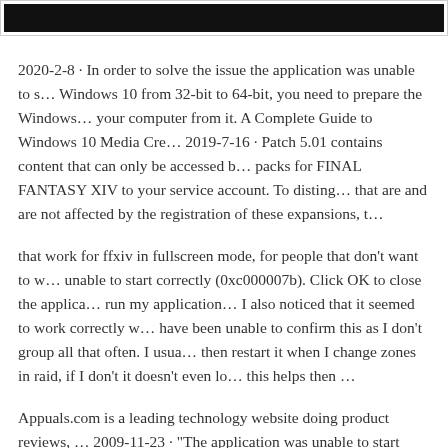[Figure (screenshot): Black banner/header bar at top of webpage screenshot]
2020-2-8 · In order to solve the issue the application was unable to s… Windows 10 from 32-bit to 64-bit, you need to prepare the Windows… your computer from it. A Complete Guide to Windows 10 Media Cre… 2019-7-16 · Patch 5.01 contains content that can only be accessed b… packs for FINAL FANTASY XIV to your service account. To disting… that are and are not affected by the registration of these expansions, t…
that work for ffxiv in fullscreen mode, for people that don't want to w… unable to start correctly (0xc000007b). Click OK to close the applica… run my application… I also noticed that it seemed to work correctly w… have been unable to confirm this as I don't group all that often. I usua… then restart it when I change zones in raid, if I don't it doesn't even lo… this helps then …
Appuals.com is a leading technology website doing product reviews, … 2009-11-23 · "The application was unable to start correctly 0xc0000…